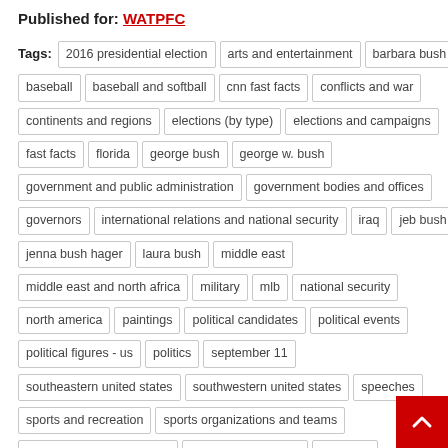Published for: WATPFC
Tags: 2016 presidential election · arts and entertainment · barbara bush · baseball · baseball and softball · cnn fast facts · conflicts and war · continents and regions · elections (by type) · elections and campaigns · fast facts · florida · george bush · george w. bush · government and public administration · government bodies and offices · governors · international relations and national security · iraq · jeb bush · jenna bush hager · laura bush · middle east · middle east and north africa · military · mlb · national security · north america · paintings · political candidates · political events · political figures - us · politics · september 11 · southeastern united states · southwestern united states · speeches · sports and recreation · sports organizations and teams · state of the union address · state supreme court · terrorism · terrorism and counter-terrorism · terrorist attacks · texas · texas rangers · the americas · united states · unrestricted elections · us federal elections · us federal government · us presidential elections · us state governments · visual arts · white